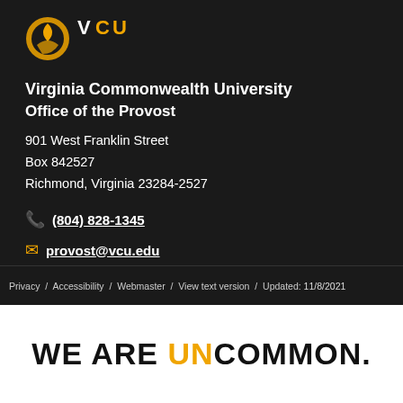[Figure (logo): VCU logo with gold and black emblem and VCU text in white and gold letters on dark background]
Virginia Commonwealth University
Office of the Provost
901 West Franklin Street
Box 842527
Richmond, Virginia 23284-2527
(804) 828-1345
provost@vcu.edu
Privacy / Accessibility / Webmaster / View text version / Updated: 11/8/2021
WE ARE UNCOMMON.